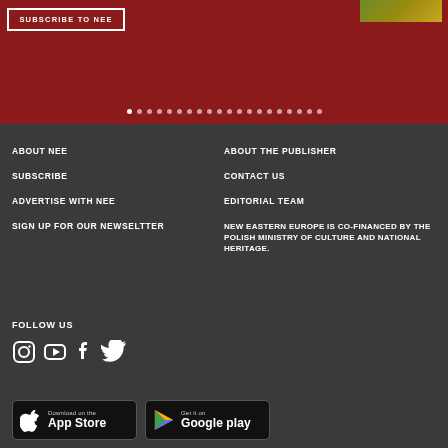[Figure (screenshot): Top dark red banner section with SUBSCRIBE TO NEE button and a small photograph top right, plus a row of navigation dots at the bottom]
ABOUT NEE
SUBSCRIBE
ADVERTISE WITH NEE
SIGN UP FOR OUR NEWSELTTER
ABOUT THE PUBLISHER
CONTACT US
EDITORIAL TEAM
NEW EASTERN EUROPE IS CO-FINANCED BY THE POLISH MINISTRY OF CULTURE AND NATIONAL HERITAGE.
FOLLOW US
[Figure (illustration): Social media icons: Instagram, YouTube, Facebook, Twitter]
[Figure (illustration): App store badges: Download on the App Store and Get it on Google Play]